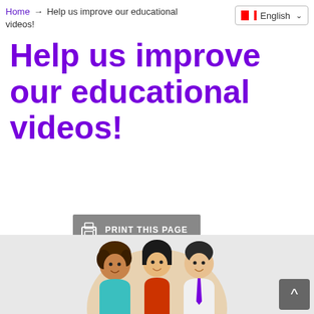Home → Help us improve our educational videos!
Help us improve our educational videos!
[Figure (screenshot): PRINT THIS PAGE button with printer icon]
[Figure (illustration): Cartoon illustration of three people: a woman with curly hair in teal scrubs, a woman with black hair in red top, and a man in a white doctor's coat with purple tie, set against a beige circular background]